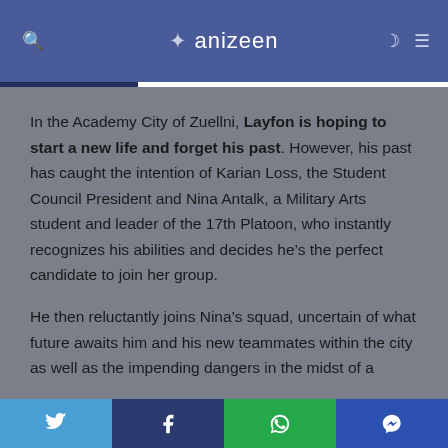anizeen
In the Academy City of Zuellni, Layfon is hoping to start a new life and forget his past. However, his past has caught the intention of Karian Loss, the Student Council President and Nina Antalk, a Military Arts student and leader of the 17th Platoon, who instantly recognizes his abilities and decides he’s the perfect candidate to join her group.
He then reluctantly joins Nina’s squad, uncertain of what future awaits him and his new teammates within the city as well as the impending dangers in the midst of a